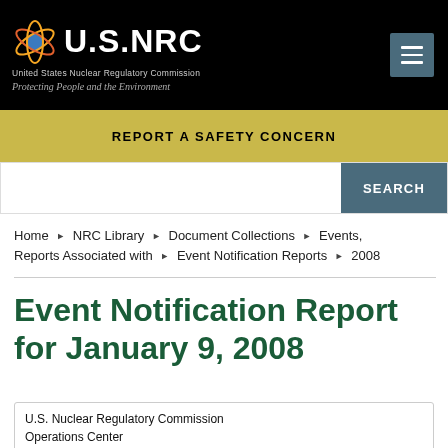[Figure (logo): U.S. NRC logo with atom graphic, text 'United States Nuclear Regulatory Commission' and tagline 'Protecting People and the Environment' on black background with hamburger menu button]
REPORT A SAFETY CONCERN
SEARCH
Home ▶ NRC Library ▶ Document Collections ▶ Events, Reports Associated with ▶ Event Notification Reports ▶ 2008
Event Notification Report for January 9, 2008
U.S. Nuclear Regulatory Commission Operations Center